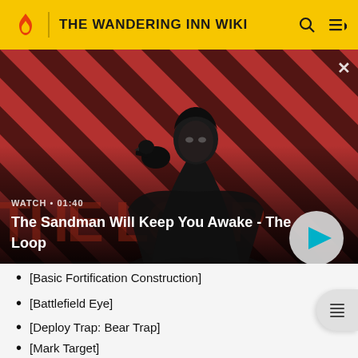THE WANDERING INN WIKI
[Figure (screenshot): Video thumbnail showing a dark figure with a raven on their shoulder against a red and dark diagonal striped background. Text overlay reads WATCH • 01:40 and The Sandman Will Keep You Awake - The Loop with a play button.]
[Basic Fortification Construction]
[Battlefield Eye]
[Deploy Trap: Bear Trap]
[Mark Target]
[Prepared Battleground: One Hour]